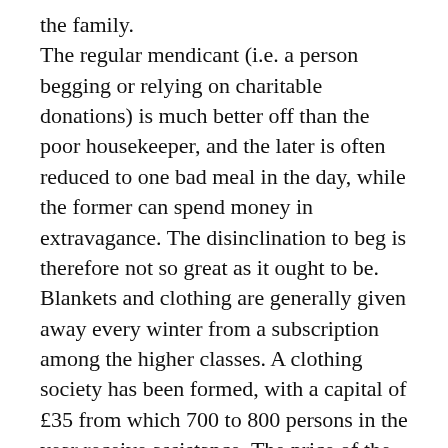the family.
The regular mendicant (i.e. a person begging or relying on charitable donations) is much better off than the poor housekeeper, and the later is often reduced to one bad meal in the day, while the former can spend money in extravagance. The disinclination to beg is therefore not so great as it ought to be.
Blankets and clothing are generally given away every winter from a subscription among the higher classes. A clothing society has been formed, with a capital of £35 from which 700 to 800 persons in the year receive assistance. The price of the article is paid by weekly instalments of 1d in the shilling. The present tax on benevolence is generally proportionate